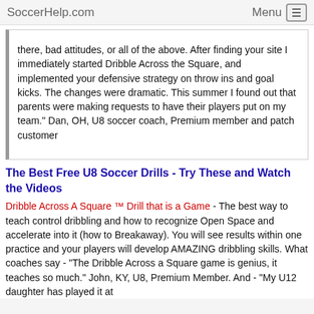SoccerHelp.com   Menu
there, bad attitudes, or all of the above. After finding your site I immediately started Dribble Across the Square, and implemented your defensive strategy on throw ins and goal kicks. The changes were dramatic. This summer I found out that parents were making requests to have their players put on my team." Dan, OH, U8 soccer coach, Premium member and patch customer
The Best Free U8 Soccer Drills - Try These and Watch the Videos
Dribble Across A Square ™ Drill that is a Game - The best way to teach control dribbling and how to recognize Open Space and accelerate into it (how to Breakaway). You will see results within one practice and your players will develop AMAZING dribbling skills. What coaches say - "The Dribble Across a Square game is genius, it teaches so much." John, KY, U8, Premium Member. And - "My U12 daughter has played it at